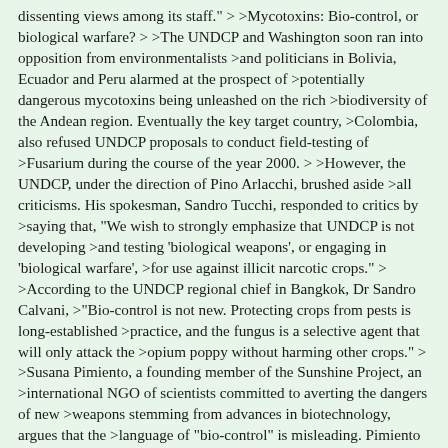dissenting views among its staff." > >Mycotoxins: Bio-control, or biological warfare? > >The UNDCP and Washington soon ran into opposition from environmentalists >and politicians in Bolivia, Ecuador and Peru alarmed at the prospect of >potentially dangerous mycotoxins being unleashed on the rich >biodiversity of the Andean region. Eventually the key target country, >Colombia, also refused UNDCP proposals to conduct field-testing of >Fusarium during the course of the year 2000. > >However, the UNDCP, under the direction of Pino Arlacchi, brushed aside >all criticisms. His spokesman, Sandro Tucchi, responded to critics by >saying that, "We wish to strongly emphasize that UNDCP is not developing >and testing 'biological weapons', or engaging in 'biological warfare', >for use against illicit narcotic crops." > >According to the UNDCP regional chief in Bangkok, Dr Sandro Calvani, >"Bio-control is not new. Protecting crops from pests is long-established >practice, and the fungus is a selective agent that will only attack the >opium poppy without harming other crops." > >Susana Pimiento, a founding member of the Sunshine Project, an >international NGO of scientists committed to averting the dangers of new >weapons stemming from advances in biotechnology, argues that the >language of "bio-control" is misleading. Pimiento states that "to expose >a crop to a